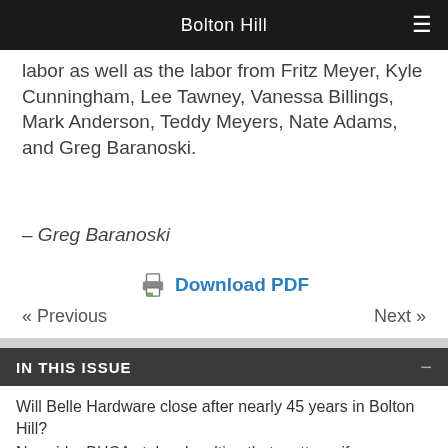Bolton Hill
labor as well as the labor from Fritz Meyer, Kyle Cunningham, Lee Tawney, Vanessa Billings, Mark Anderson, Teddy Meyers, Nate Adams, and Greg Baranoski.
– Greg Baranoski
Download PDF
« Previous    Next »
IN THIS ISSUE
Will Belle Hardware close after nearly 45 years in Bolton Hill?
Nyweide: BHCA stokes loyalties that matter – if you